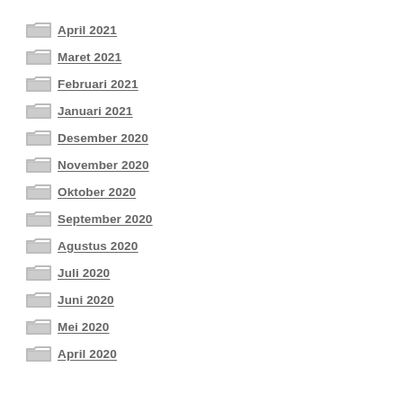April 2021
Maret 2021
Februari 2021
Januari 2021
Desember 2020
November 2020
Oktober 2020
September 2020
Agustus 2020
Juli 2020
Juni 2020
Mei 2020
April 2020